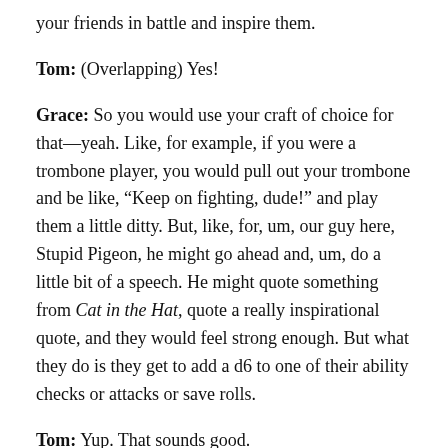your friends in battle and inspire them.
Tom: (Overlapping) Yes!
Grace: So you would use your craft of choice for that—yeah. Like, for example, if you were a trombone player, you would pull out your trombone and be like, “Keep on fighting, dude!” and play them a little ditty. But, like, for, um, our guy here, Stupid Pigeon, he might go ahead and, um, do a little bit of a speech. He might quote something from Cat in the Hat, quote a really inspirational quote, and they would feel strong enough. But what they do is they get to add a d6 to one of their ability checks or attacks or save rolls.
Tom: Yup. That sounds good.